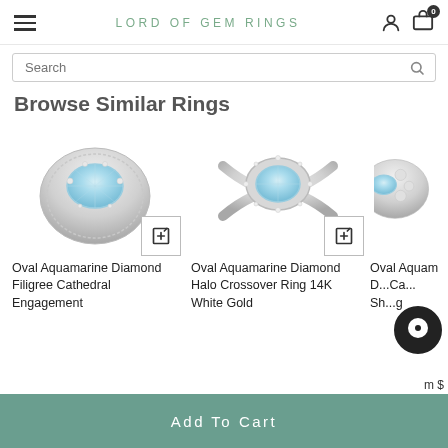LORD OF GEM RINGS
Search
Browse Similar Rings
[Figure (photo): Three oval aquamarine diamond rings on white background with add-to-cart buttons]
Oval Aquamarine Diamond Filigree Cathedral Engagement
Oval Aquamarine Diamond Halo Crossover Ring 14K White Gold
Oval Aquamarine D... Ca... Sh... g
Add To Cart